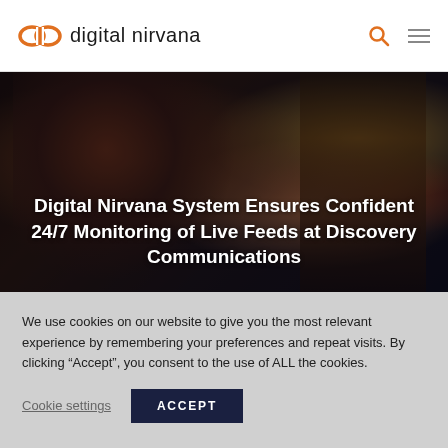digital nirvana
[Figure (photo): Dark atmospheric photo of a woman with red hair looking at lights/screen in a dark urban night setting, with overlaid title text: Digital Nirvana System Ensures Confident 24/7 Monitoring of Live Feeds at Discovery Communications]
Digital Nirvana System Ensures Confident 24/7 Monitoring of Live Feeds at Discovery Communications
We use cookies on our website to give you the most relevant experience by remembering your preferences and repeat visits. By clicking “Accept”, you consent to the use of ALL the cookies.
Cookie settings  ACCEPT